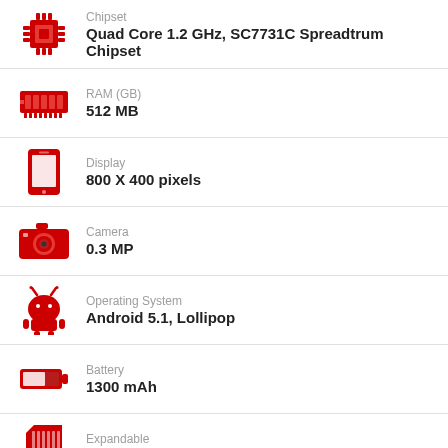Chipset: Quad Core 1.2 GHz, SC7731C Spreadtrum Chipset
RAM (GB): 512 MB
Display: 800 X 400 pixels
Camera: 0.3 MP
Operating System: Android 5.1, Lollipop
Battery: 1300 mAh
Expandable: 32 GB, micro SD card
The smartphone comes with 4-inch WVGA display and powered by 1.2 GHz quad-core processor along with Android Lollipop operating system.
Intex Aqua 3G Pro Q Specs